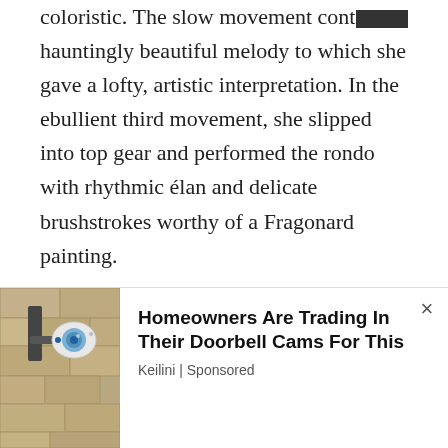coloristic. The slow movement contains a hauntingly beautiful melody to which she gave a lofty, artistic interpretation. In the ebullient third movement, she slipped into top gear and performed the rondo with rhythmic élan and delicate brushstrokes worthy of a Fragonard painting.
Well done, Tanya Ekanayaka! It was a thrilling performance from beginning to end, cemented by a powerful rapport between conductor and soloist. The strong supporting role played by the orchestra was also commendable.
[Figure (photo): Outdoor wall-mounted light fixture or security camera on a stone wall]
Homeowners Are Trading In Their Doorbell Cams For This
Keilini | Sponsored